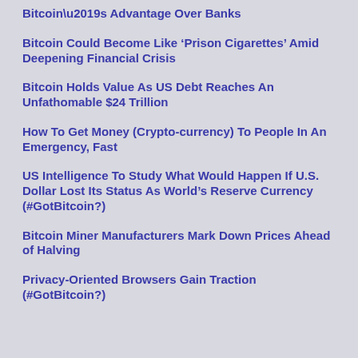Bitcoin’s Advantage Over Banks
Bitcoin Could Become Like ‘Prison Cigarettes’ Amid Deepening Financial Crisis
Bitcoin Holds Value As US Debt Reaches An Unfathomable $24 Trillion
How To Get Money (Crypto-currency) To People In An Emergency, Fast
US Intelligence To Study What Would Happen If U.S. Dollar Lost Its Status As World’s Reserve Currency (#GotBitcoin?)
Bitcoin Miner Manufacturers Mark Down Prices Ahead of Halving
Privacy-Oriented Browsers Gain Traction (#GotBitcoin?)